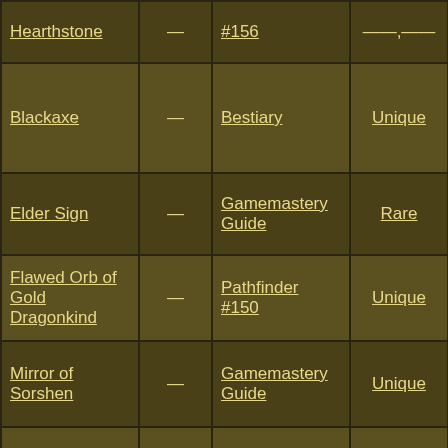| Name | Level | Source | Rarity | Traits |
| --- | --- | --- | --- | --- |
| Hearthstone | — | #156 | —— | ——, Enchantme |
| Blackaxe | — | Bestiary | Unique | Artifact, Cursed, Evocation, Primal |
| Elder Sign | — | Gamemastery Guide | Rare | Abjuration, Artifact, Oc |
| Flawed Orb of Gold Dragonkind | — | Pathfinder #150 | Unique | Artifact, Enchantme, Magical |
| Mirror of Sorshen | — | Gamemastery Guide | Unique | Artifact, Enchantme, Magical |
| Orb of Dragonkind | — | Gamemastery Guide | Unique | Arcane, Artifact, Enchantme |
|  | — |  |  | Artifact |